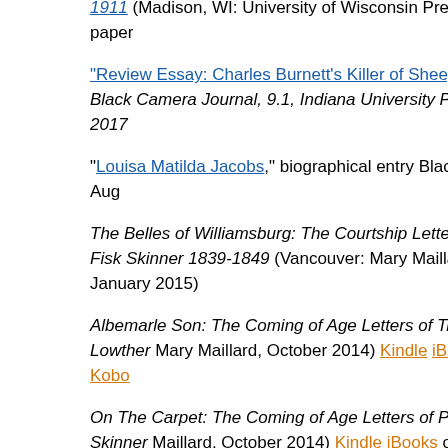1911 (Madison, WI: University of Wisconsin Press, 2017, paper
"Review Essay: Charles Burnett's Killer of Sheep (1977)", Black Camera Journal, 9.1, Indiana University Press, Fall 2017
"Louisa Matilda Jacobs," biographical entry BlackPast.org, Aug
The Belles of Williamsburg: The Courtship Letters of Eliza Fisk Skinner 1839-1849 (Vancouver: Mary Maillard, January 2015)
Albemarle Son: The Coming of Age Letters of Tristrim Lowther Mary Maillard, October 2014) Kindle iBooks or Kobo
On The Carpet: The Coming of Age Letters of Penelope Skinner Maillard, October 2014) Kindle iBooks or Kobo
A Map of Time and Blood: An Introduction to the Skinner Fami Mary Maillard, August 2014) Kindle, iBooks, or Kobo